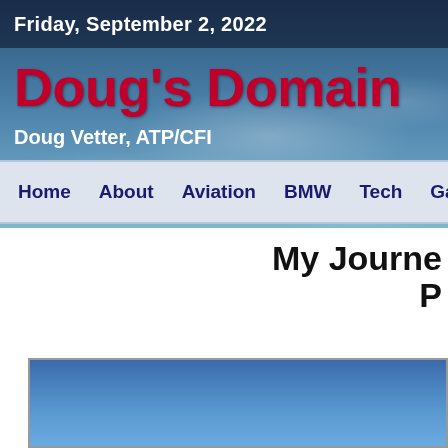Friday, September 2, 2022
Doug's Domain
Doug Vetter, ATP/CFI
Home    About    Aviation    BMW    Tech    Gall
My Journe... P...
[Figure (photo): Blue sky photo at bottom of page]